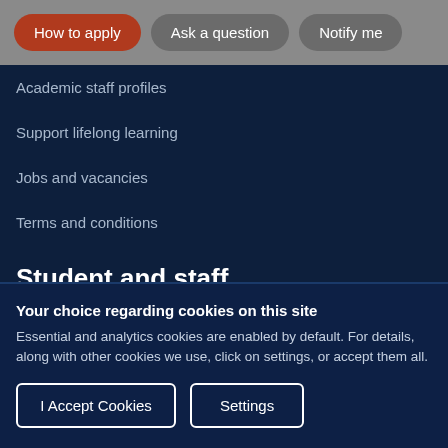[Figure (screenshot): Top navigation bar with three buttons: 'How to apply' (red/orange pill), 'Ask a question' (gray pill), 'Notify me' (gray pill)]
Academic staff profiles
Support lifelong learning
Jobs and vacancies
Terms and conditions
Student and staff
Your choice regarding cookies on this site
Essential and analytics cookies are enabled by default. For details, along with other cookies we use, click on settings, or accept them all.
I Accept Cookies | Settings